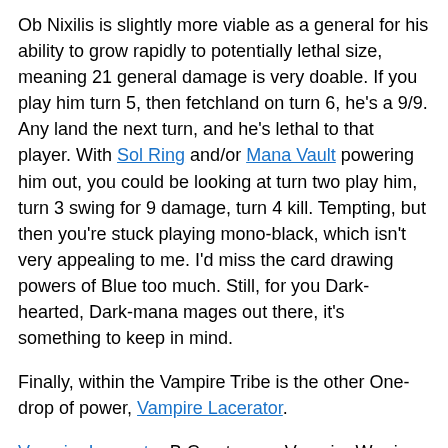Ob Nixilis is slightly more viable as a general for his ability to grow rapidly to potentially lethal size, meaning 21 general damage is very doable. If you play him turn 5, then fetchland on turn 6, he's a 9/9. Any land the next turn, and he's lethal to that player. With Sol Ring and/or Mana Vault powering him out, you could be looking at turn two play him, turn 3 swing for 9 damage, turn 4 kill. Tempting, but then you're stuck playing mono-black, which isn't very appealing to me. I'd miss the card drawing powers of Blue too much. Still, for you Dark-hearted, Dark-mana mages out there, it's something to keep in mind.
Finally, within the Vampire Tribe is the other One-drop of power, Vampire Lacerator.
Vampire Lacerator B Creature — Vampire Warrior At the beginning of your upkeep, you lose 1 life unless an opponent has 10 or less life. 2/2
Yeah, it's got a drawback, but that's not really a drawback...